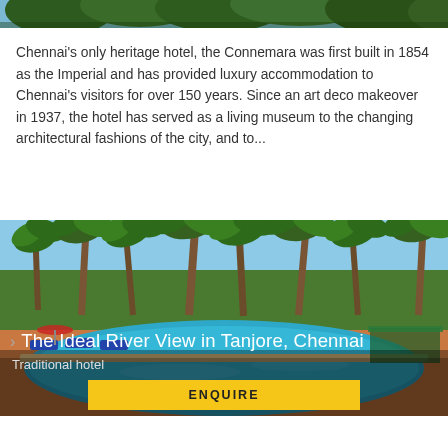[Figure (photo): Top portion of a outdoor nature/garden scene, partially cropped at top edge]
Chennai's only heritage hotel, the Connemara was first built in 1854 as the Imperial and has provided luxury accommodation to Chennai's visitors for over 150 years. Since an art deco makeover in 1937, the hotel has served as a living museum to the changing architectural fashions of the city, and to...
[Figure (photo): Outdoor swimming pool at The Ideal River View hotel in Tanjore, Chennai, surrounded by tall palm trees and lounge chairs, with blue sky overhead]
The Ideal River View in Tanjore, Chennai
Traditional hotel
ENQUIRE